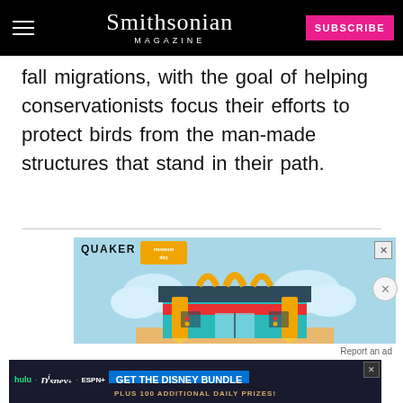Smithsonian Magazine | SUBSCRIBE
fall migrations, with the goal of helping conservationists focus their efforts to protect birds from the man-made structures that stand in their path.
[Figure (illustration): Advertisement: Quaker / Museum Day - illustration of a colorful building made of pencils and art supplies with clouds in the background]
[Figure (illustration): Advertisement: GET THE DISNEY BUNDLE - hulu, Disney+, ESPN+ logos with blue call-to-action button. Incl. Hulu (ad-supported) or Hulu (No Ads). Access content from each service separately. ©2021 Disney and its related entities.]
[Figure (illustration): Partially visible advertisement: PLUS 100 ADDITIONAL DAILY PRIZES!]